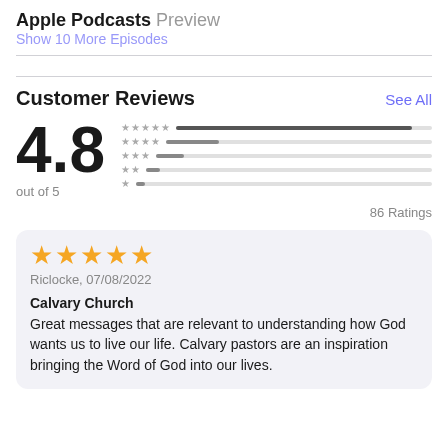Apple Podcasts Preview
Show 10 More Episodes
Customer Reviews
See All
4.8 out of 5
86 Ratings
★★★★★ Riclocke, 07/08/2022

Calvary Church
Great messages that are relevant to understanding how God wants us to live our life. Calvary pastors are an inspiration bringing the Word of God into our lives.